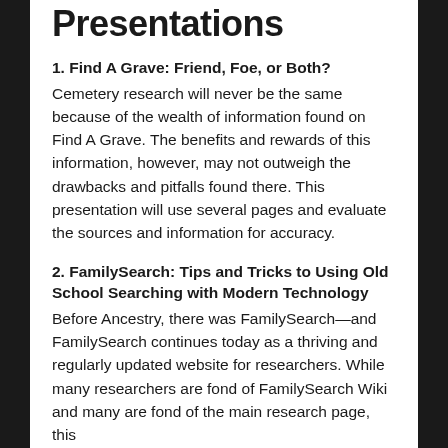Presentations
1. Find A Grave: Friend, Foe, or Both?
Cemetery research will never be the same because of the wealth of information found on Find A Grave. The benefits and rewards of this information, however, may not outweigh the drawbacks and pitfalls found there. This presentation will use several pages and evaluate the sources and information for accuracy.
2. FamilySearch: Tips and Tricks to Using Old School Searching with Modern Technology
Before Ancestry, there was FamilySearch—and FamilySearch continues today as a thriving and regularly updated website for researchers. While many researchers are fond of FamilySearch Wiki and many are fond of the main research page, this